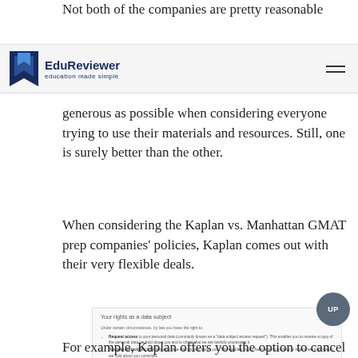Not both of the companies are pretty reasonable
[Figure (logo): EduReviewer logo with blue bookmark icon and tagline 'education made simple', navigation bar with hamburger menu]
generous as possible when considering everyone trying to use their materials and resources. Still, one is surely better than the other.
When considering the Kaplan vs. Manhattan GMAT prep companies' policies, Kaplan comes out with their very flexible deals.
[Figure (screenshot): Screenshot of a privacy policy section titled 'Your rights as a data subject' with bullet points about Request access, Request correction, Request erasure, Object to processing, Request the restriction of processing, Request the transfer. Includes a 'No fee usually required' section.]
For example, Kaplan offers you the option to cancel